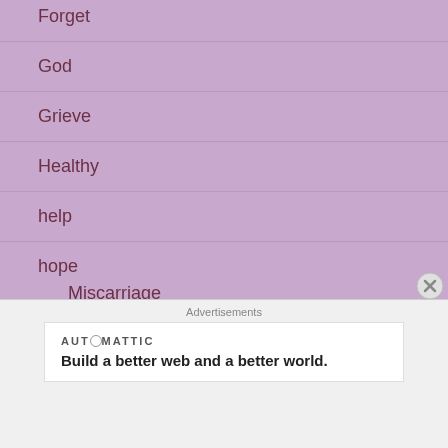Forget
God
Grieve
Healthy
help
hope
Miscarriage
infertility
Treatment
Infertility awarness
Advertisements
[Figure (other): Automattic advertisement: Build a better web and a better world.]